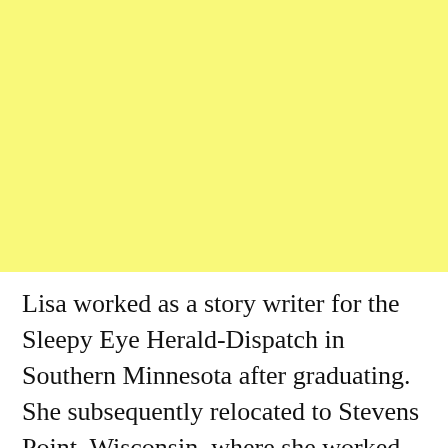[Figure (other): Large yellow rectangular block filling the upper portion of the page]
Lisa worked as a story writer for the Sleepy Eye Herald-Dispatch in Southern Minnesota after graduating. She subsequently relocated to Stevens Point, Wisconsin, where she worked as the News Director of a radio station...